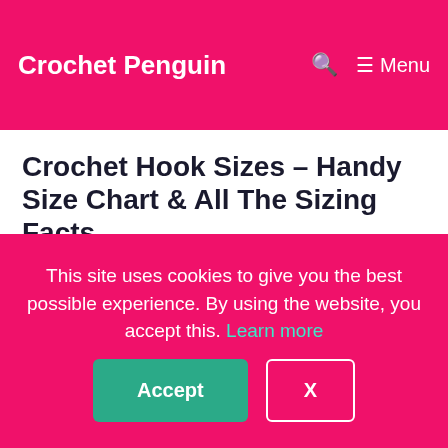Crochet Penguin  🔍  ☰ Menu
Crochet Hook Sizes – Handy Size Chart & All The Sizing Facts
June 22, 2022 by Jodie Morgan
This site uses cookies to give you the best possible experience. By using the website, you accept this. Learn more